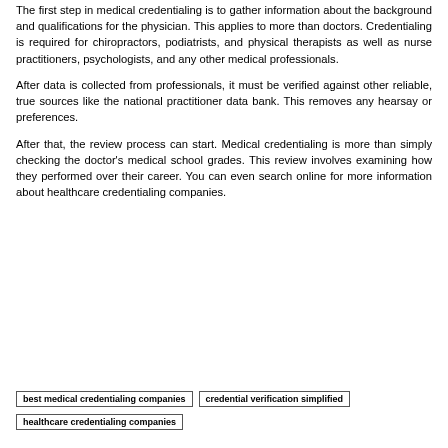The first step in medical credentialing is to gather information about the background and qualifications for the physician. This applies to more than doctors. Credentialing is required for chiropractors, podiatrists, and physical therapists as well as nurse practitioners, psychologists, and any other medical professionals.
After data is collected from professionals, it must be verified against other reliable, true sources like the national practitioner data bank. This removes any hearsay or preferences.
After that, the review process can start. Medical credentialing is more than simply checking the doctor's medical school grades. This review involves examining how they performed over their career. You can even search online for more information about healthcare credentialing companies.
best medical credentialing companies
credential verification simplified
healthcare credentialing companies